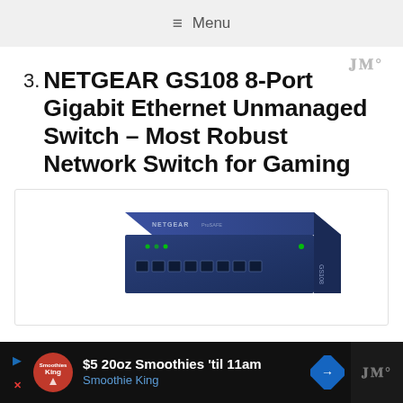≡ Menu
3. NETGEAR GS108 8-Port Gigabit Ethernet Unmanaged Switch – Most Robust Network Switch for Gaming
[Figure (photo): Photo of the NETGEAR GS108 8-port gigabit ethernet unmanaged switch in blue, shown at an angle on a white background]
$5 20oz Smoothies 'til 11am Smoothie King